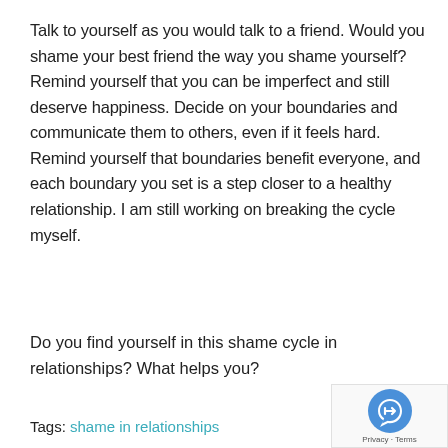Talk to yourself as you would talk to a friend. Would you shame your best friend the way you shame yourself? Remind yourself that you can be imperfect and still deserve happiness. Decide on your boundaries and communicate them to others, even if it feels hard. Remind yourself that boundaries benefit everyone, and each boundary you set is a step closer to a healthy relationship. I am still working on breaking the cycle myself.
Do you find yourself in this shame cycle in relationships? What helps you?
Tags: shame in relationships
APA Reference
Sabatello, J. (2021, January 18). Breaking the Cycle of Shame in Relationships. HealthyPlace. Retrieved on